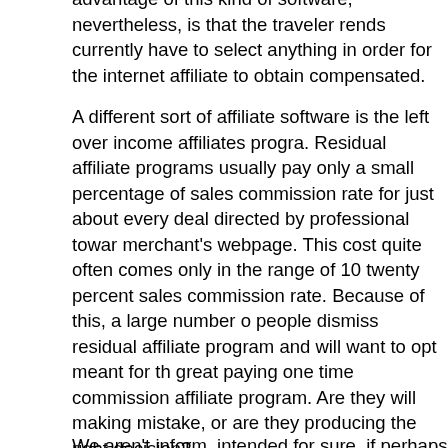advantage of this kind of software, nevertheless, is that the traveler rends currently have to select anything in order for the internet affiliate to obtain compensated.
A different sort of affiliate software is the left over income affiliates progra. Residual affiliate programs usually pay only a small percentage of sales commission rate for just about every deal directed by professional towar merchant's webpage. This cost quite often comes only in the range of 10 twenty percent sales commission rate. Because of this, a large number o people dismiss residual affiliate program and will want to opt meant for th great paying one time commission affiliate program. Are they will making mistake, or are they producing the right decision?
We aren't inform, intended for sure, if perhaps people are producing a mi by choosing a large compensating 1-time commission rate affiliate progra. But we may absolutely state that they can be making a large mistake any they dismiss residual affiliate programs. Residual affiliate products would indeed pay by a lower cost, nevertheless merchants offering many of the wide variety of applications would generally pay you standard and regula commissions for that solitary affiliate initiated sales! That means, for the similar effort you made in advertising a particular affiliates program, you receives a commission only once in an one-time returns plan, and a regu and ongoing commission for a left over system! So , are the primary advantages of endorsing recurring affiliate marketing programs distinct to now? Or perhaps are they still vague? If that they are nonetheless vague after that let's make sure they are a piece distinct with this kind of case in point.
Guess there are two online merchants both offering web hosting services own sites. The first reseller offers a one-time fee type of affiliates progran makes up $99 for each single affiliate marketer begun deal. The second